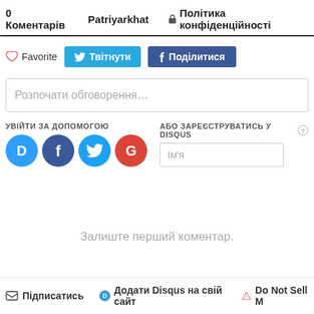0 Коментарів  Patriyarkhat  🔒 Політика конфіденційності
♡ Favorite   🐦 Твітнути   f Поділитися
Розпочати обговорення…
УВІЙТИ ЗА ДОПОМОГОЮ
АБО ЗАРЕЄСТРУВАТИСЬ У DISQUS
Ім'я
Залиште перший коментар.
✉ Підписатись   D Додати Disqus на свій сайт   ▲ Do Not Sell M